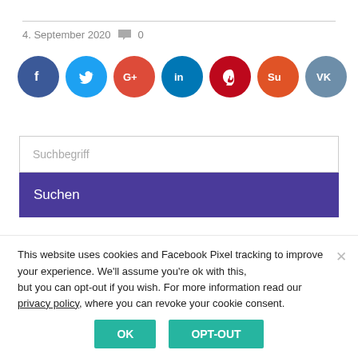4. September 2020  💬 0
[Figure (infographic): Row of 7 social media share buttons as colored circles: Facebook (dark blue, f), Twitter (light blue, bird), Google+ (red-orange, G+), LinkedIn (dark blue, in), Pinterest (dark red, p), StumbleUpon (orange, Su), VK (grey-blue, VK)]
Suchbegriff
Suchen
This website uses cookies and Facebook Pixel tracking to improve your experience. We'll assume you're ok with this, but you can opt-out if you wish. For more information read our privacy policy, where you can revoke your cookie consent.
OK
OPT-OUT